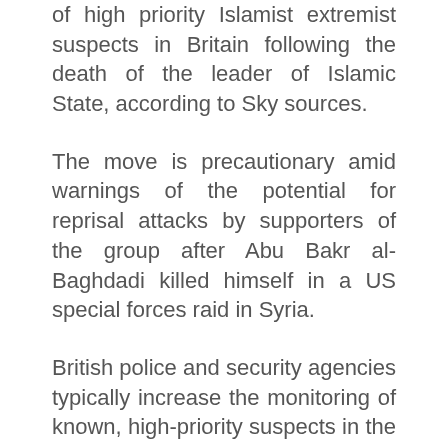of high priority Islamist extremist suspects in Britain following the death of the leader of Islamic State, according to Sky sources.
The move is precautionary amid warnings of the potential for reprisal attacks by supporters of the group after Abu Bakr al-Baghdadi killed himself in a US special forces raid in Syria.
British police and security agencies typically increase the monitoring of known, high-priority suspects in the wake of a terrorist atrocity or other significant moment that might prompt reprisal killings or copycat incidents, a Whitehall source said...
The increased monitoring of suspects in the wake of Baghdadi's death comes as